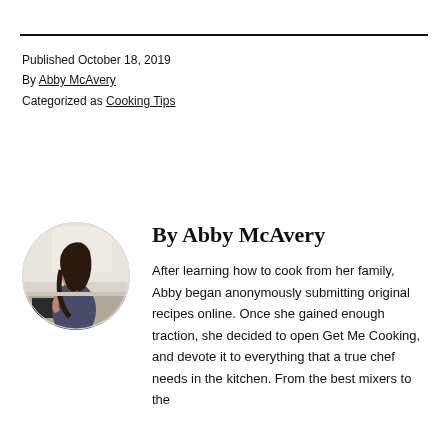Published October 18, 2019
By Abby McAvery
Categorized as Cooking Tips
By Abby McAvery
[Figure (photo): Circular portrait photo of Abby McAvery cooking in a kitchen, viewed from the side, with dark hair.]
After learning how to cook from her family, Abby began anonymously submitting original recipes online. Once she gained enough traction, she decided to open Get Me Cooking, and devote it to everything that a true chef needs in the kitchen. From the best mixers to the